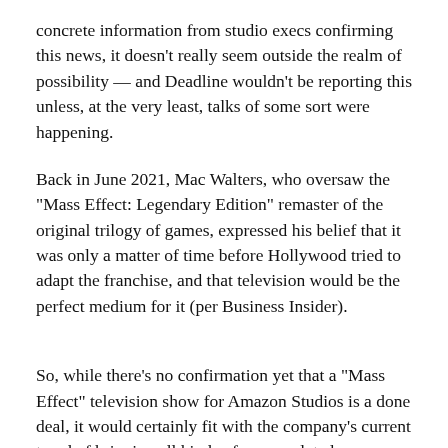concrete information from studio execs confirming this news, it doesn't really seem outside the realm of possibility — and Deadline wouldn't be reporting this unless, at the very least, talks of some sort were happening.
Back in June 2021, Mac Walters, who oversaw the "Mass Effect: Legendary Edition" remaster of the original trilogy of games, expressed his belief that it was only a matter of time before Hollywood tried to adapt the franchise, and that television would be the perfect medium for it (per Business Insider).
So, while there's no confirmation yet that a "Mass Effect" television show for Amazon Studios is a done deal, it would certainly fit with the company's current trend of bringing all kinds of genre-related adaptations to its service. At this time, all fans can really do is wait